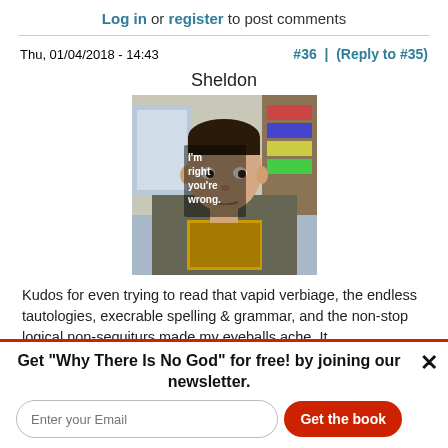Log in or register to post comments
Thu, 01/04/2018 - 14:43
#36 | (Reply to #35)
Sheldon
[Figure (photo): Photo of Sheldon (character) with text 'I'm right you're wrong' overlaid]
Kudos for even trying to read that vapid verbiage, the endless tautologies, execrable spelling & grammar, and the non-stop logical non-sequiturs made my eyeballs ache. It
Get "Why There Is No God" for free! by joining our newsletter.